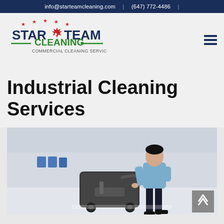info@starteamcleaning.com  |  (647) 772-4486  |
[Figure (logo): Star Team Cleaning logo with maple leaf and stars, text reads STAR TEAM CLEANING - COMMERCIAL CLEANING SERVICES]
Industrial Cleaning Services
[Figure (photo): Worker in blue shirt pushing a large floor scrubber machine in a bright industrial/airport facility with blue seating visible in background]